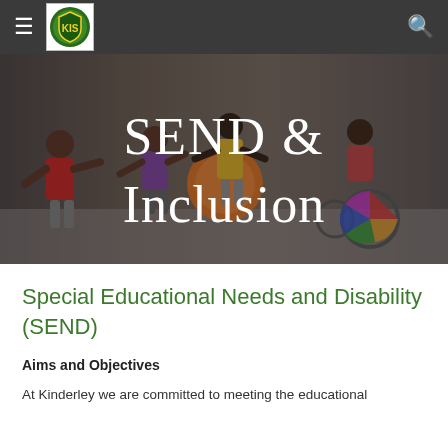≡  [Kinderley Logo]  🔍
[Figure (photo): Hero banner image showing colorful paper/craft figures of children including one in a wheelchair, with 'SEND & Inclusion' text overlay on a dark background.]
Special Educational Needs and Disability (SEND)
Aims and Objectives
At Kinderley we are committed to meeting the educational